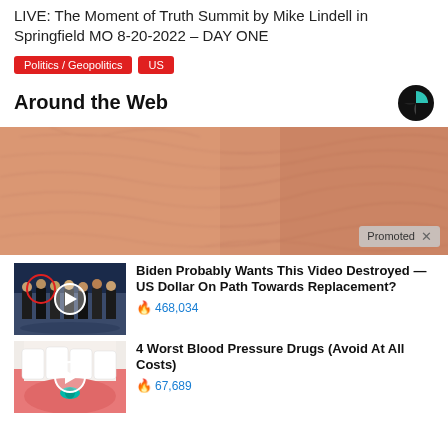LIVE: The Moment of Truth Summit by Mike Lindell in Springfield MO 8-20-2022 – DAY ONE
Politics / Geopolitics
US
Around the Web
[Figure (photo): Close-up macro photo of skin texture, pinkish-orange tones with a 'Promoted X' badge overlay]
[Figure (photo): Thumbnail of group of men in suits with red circle highlight on one person and a play button overlay]
Biden Probably Wants This Video Destroyed — US Dollar On Path Towards Replacement?
🔥 468,034
[Figure (photo): Thumbnail of person with tongue out holding a teal pill, play button overlay]
4 Worst Blood Pressure Drugs (Avoid At All Costs)
🔥 67,689